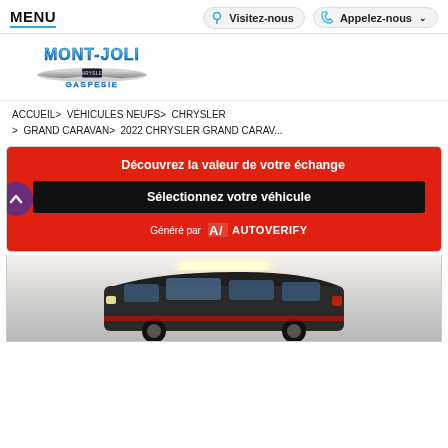MENU | Visitez-nous | Appelez-nous
[Figure (logo): Mont-Joli Chrysler Gaspésie logo with stylized blue text and silver Chrysler wings emblem]
ACCUEIL> VÉHICULES NEUFS> CHRYSLER > GRAND CARAVAN> 2022 CHRYSLER GRAND CARAV...
[Figure (infographic): Red banner with purple circle chevron up icon, white bold text 'Découvrez la valeur de votre échange', black button 'Sélectionnez votre véhicule', and Généré par AUTOVERIFY logo at bottom]
[Figure (photo): Dark-colored Chrysler Grand Caravan minivan parked in an indoor garage with white walls and ceiling strip lights]